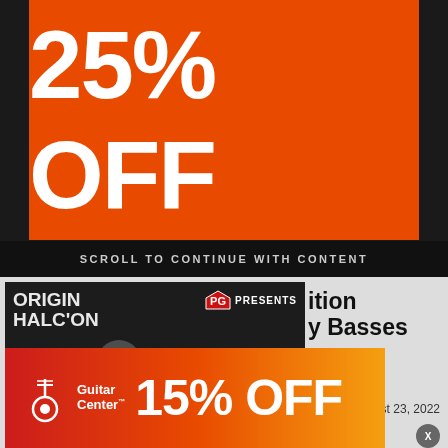[Figure (infographic): Orange advertisement banner with '25% OFF' in large white bold text]
SCROLL TO CONTINUE WITH CONTENT
[Figure (screenshot): Video thumbnail showing a man holding a guitar pedal, with ORIGIN HALCYON text on left, PG PRESENTS logo on right, play button in center, and FIRST LOOK badge overlay]
ition y Basses
PRESS RELEASE
August 23, 2022
[Figure (infographic): Guitar Center advertisement with red-to-orange gradient background showing Guitar Center logo and '15% OFF' in large white text]